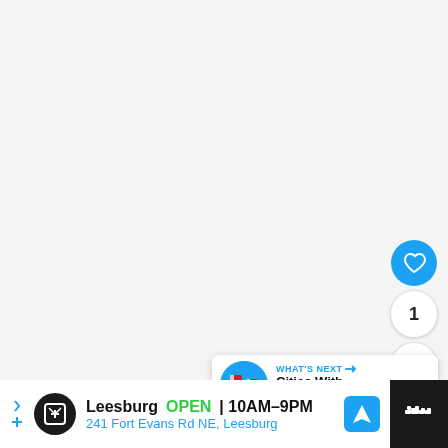[Figure (screenshot): Light gray empty content area — main page background]
[Figure (infographic): UI overlay buttons: heart/like button (blue circle with heart icon), count badge showing '1', share button (white circle with share icon)]
1
[Figure (infographic): What's Next card: thumbnail image (circular, red and white graphic), label 'WHAT'S NEXT →', title 'Cities With Highest Cri...']
WHAT'S NEXT → Cities With Highest Cri...
[Figure (infographic): Advertisement bar: Leesburg store ad — logo, OPEN 10AM-9PM, 241 Fort Evans Rd NE Leesburg, navigation icon, dark overlay on right with weather/app icon]